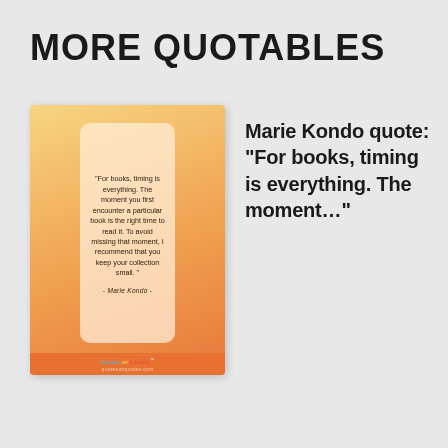MORE QUOTABLES
[Figure (illustration): A quote card image with orange gradient background containing Marie Kondo quote text in a rounded rectangle card, with a footer bar showing 'quotesonquotes' branding.]
Marie Kondo quote: “For books, timing is everything. The moment…”